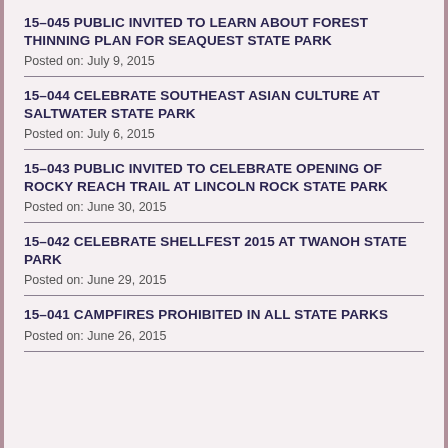15-045 PUBLIC INVITED TO LEARN ABOUT FOREST THINNING PLAN FOR SEAQUEST STATE PARK
Posted on: July 9, 2015
15-044 CELEBRATE SOUTHEAST ASIAN CULTURE AT SALTWATER STATE PARK
Posted on: July 6, 2015
15-043 PUBLIC INVITED TO CELEBRATE OPENING OF ROCKY REACH TRAIL AT LINCOLN ROCK STATE PARK
Posted on: June 30, 2015
15-042 CELEBRATE SHELLFEST 2015 AT TWANOH STATE PARK
Posted on: June 29, 2015
15-041 CAMPFIRES PROHIBITED IN ALL STATE PARKS
Posted on: June 26, 2015